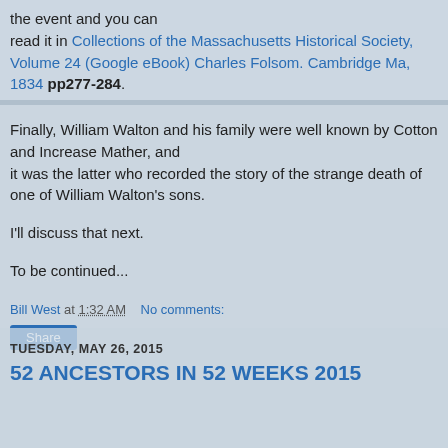the event and you can read it in Collections of the Massachusetts Historical Society, Volume 24 (Google eBook) Charles Folsom. Cambridge Ma, 1834 pp277-284.
Finally, William Walton and his family were well known by Cotton and Increase Mather, and it was the latter who recorded the story of the strange death of one of William Walton's sons.
I'll discuss that next.
To be continued...
Bill West at 1:32 AM   No comments:
Share
TUESDAY, MAY 26, 2015
52 ANCESTORS IN 52 WEEKS 2015